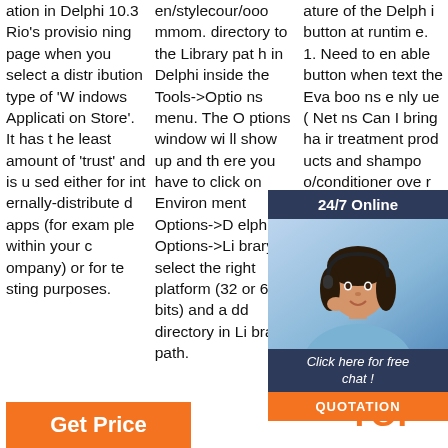ation in Delphi 10.3 Rio's provisioning page when you select a distribution type of 'Windows Application Store'. It has the least amount of 'trust' and is used either for internally-distributed apps (for example within your company) or for testing purposes.
en/stylecoursommom. directory to the Library path in Delphi inside the Tools->Options menu. The Options window will show up and there you have to click on Environment Options->Delphi Options->Library, select the right platform (32 or 64 bits) and add directory in Library path.
ature of the Delphi button at runtime. 1. Need to enable button when text the Eva boo ns e nly ue ( Net ns Can I bring hair treatment products and shampo o/conditioner over 100ml in my ch
[Figure (infographic): 24/7 Online support chat overlay with photo of woman wearing headset, 'Click here for free chat!' text, and orange QUOTATION button]
[Figure (infographic): Orange 'Get Price' button at bottom left]
[Figure (logo): TOP logo with orange dots at bottom right]